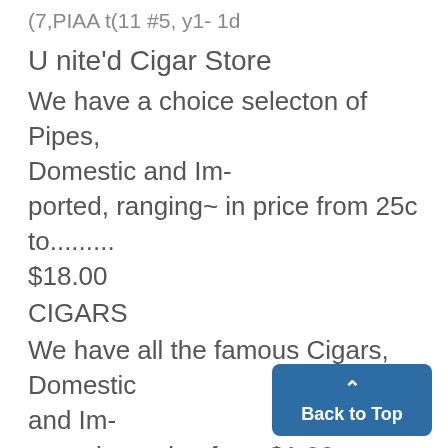(7,PIAA t(11 #5, y1- 1d
U nite'd Cigar Store
We have a choice selecton of Pipes, Domestic and Im-ported, ranging~ in price from 25c to......... $18.00
CIGARS
We have all the famous Cigars, Domestic and Im-ported, ranging from $1.00 per box to. ...$15.00 j
SMOKING TOBACCOS.
Pipe Tobacco, Domestic and Im-